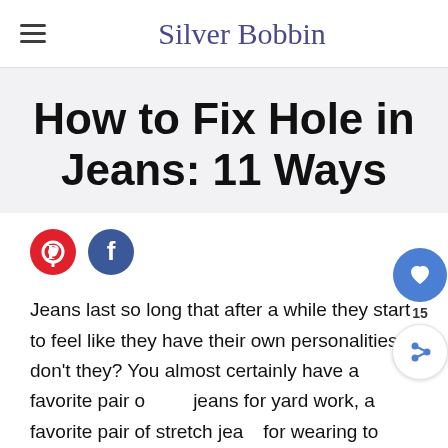Silver Bobbin
How to Fix Hole in Jeans: 11 Ways
[Figure (other): Pinterest and Facebook social share buttons]
Jeans last so long that after a while they start to feel like they have their own personalities, don't they? You almost certainly have a favorite pair of jeans for yard work, a favorite pair of stretch jeans for wearing to Target, and maybe even a favorite